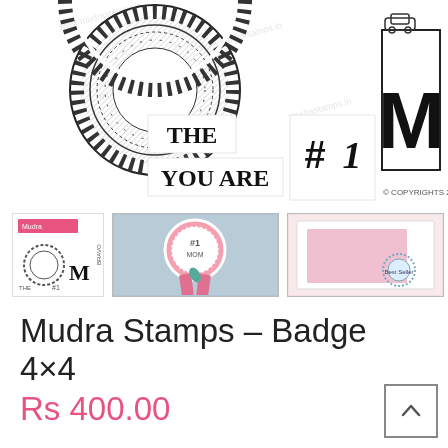[Figure (photo): Product stamp sheet showing badge/award rosette stamp designs with text stamps 'THE', 'YOU ARE', '#1', and large letter M on white background with copyright notice '© COPYRIGHTS 2016']
[Figure (photo): Three product thumbnail images: left shows stamp set packaging with rosette circle and M letter stamps, center shows crafted pink rosette badge ribbon with #1 text, right shows pink framed card with blue rosette detail]
Mudra Stamps – Badge 4×4
Rs 400.00